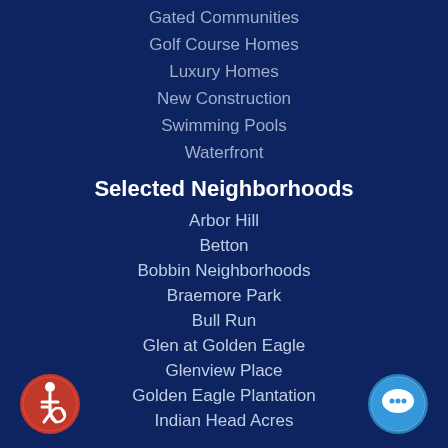Gated Communities
Golf Course Homes
Luxury Homes
New Construction
Swimming Pools
Waterfront
Selected Neighborhoods
Arbor Hill
Betton
Bobbin Neighborhoods
Braemore Park
Bull Run
Glen at Golden Eagle
Glenview Place
Golden Eagle Plantation
Indian Head Acres
[Figure (illustration): Red circular accessibility icon (wheelchair user symbol) in bottom left corner]
[Figure (illustration): Blue circular chat/message icon in bottom right corner]